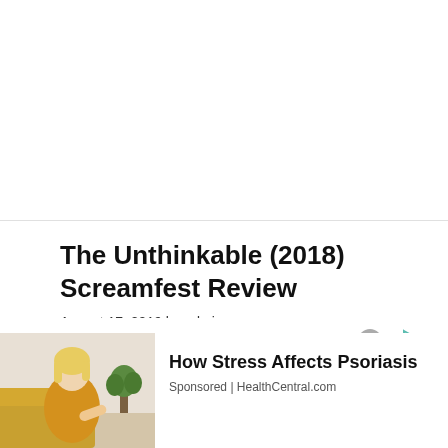The Unthinkable (2018) Screamfest Review
August 17, 2019 by admin
[Figure (photo): Advertisement image showing a woman in a yellow sweater looking at her arm, with text 'How Stress Affects Psoriasis' and 'Sponsored | HealthCentral.com']